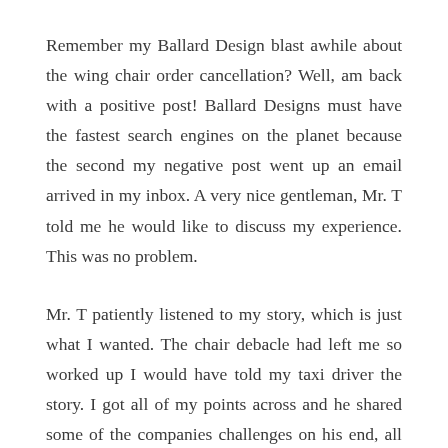Remember my Ballard Design blast awhile about the wing chair order cancellation? Well, am back with a positive post! Ballard Designs must have the fastest search engines on the planet because the second my negative post went up an email arrived in my inbox. A very nice gentleman, Mr. T told me he would like to discuss my experience. This was no problem.
Mr. T patiently listened to my story, which is just what I wanted. The chair debacle had left me so worked up I would have told my taxi driver the story. I got all of my points across and he shared some of the companies challenges on his end, all very